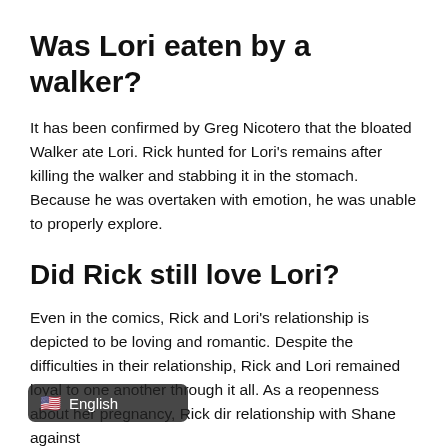Was Lori eaten by a walker?
It has been confirmed by Greg Nicotero that the bloated Walker ate Lori. Rick hunted for Lori's remains after killing the walker and stabbing it in the stomach. Because he was overtaken with emotion, he was unable to properly explore.
Did Rick still love Lori?
Even in the comics, Rick and Lori's relationship is depicted to be loving and romantic. Despite the difficulties in their relationship, Rick and Lori remained loyal to one another through it all. As a re... openness about her pregnancy, Rick di... r relationship with Shane against
[Figure (other): A language selector tooltip overlay showing a US flag emoji and the text 'English']